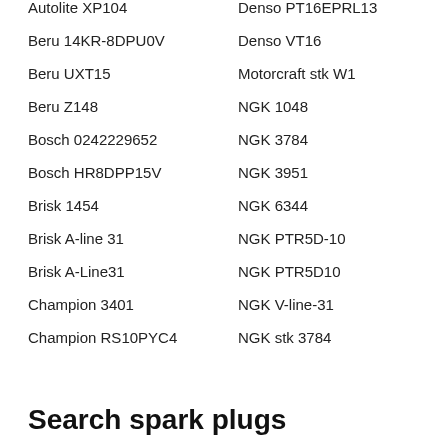Autolite XP104
Beru 14KR-8DPU0V
Beru UXT15
Beru Z148
Bosch 0242229652
Bosch HR8DPP15V
Brisk 1454
Brisk A-line 31
Brisk A-Line31
Champion 3401
Champion RS10PYC4
Denso PT16EPRL13
Denso VT16
Motorcraft stk W1
NGK 1048
NGK 3784
NGK 3951
NGK 6344
NGK PTR5D-10
NGK PTR5D10
NGK V-line-31
NGK stk 3784
Search spark plugs